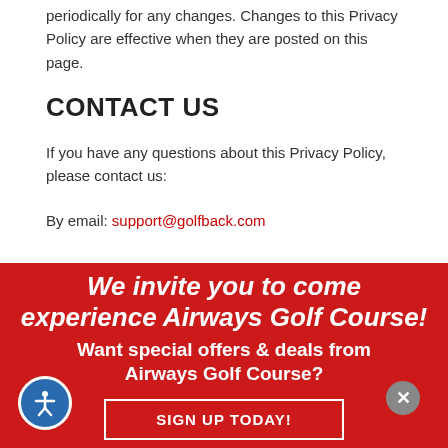periodically for any changes. Changes to this Privacy Policy are effective when they are posted on this page.
CONTACT US
If you have any questions about this Privacy Policy, please contact us:
By email: support@golfback.com
We invite you to come experience Airways Golf Course!
Want special offers & deals from Airways Golf Course?
SIGN UP TODAY!